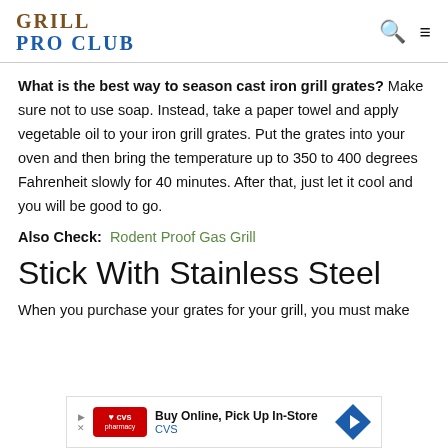GRILL PRO CLUB
What is the best way to season cast iron grill grates? Make sure not to use soap. Instead, take a paper towel and apply vegetable oil to your iron grill grates. Put the grates into your oven and then bring the temperature up to 350 to 400 degrees Fahrenheit slowly for 40 minutes. After that, just let it cool and you will be good to go.
Also Check: Rodent Proof Gas Grill
Stick With Stainless Steel
When you purchase your grates for your grill, you must make
[Figure (other): CVS pharmacy advertisement banner: Buy Online, Pick Up In-Store]